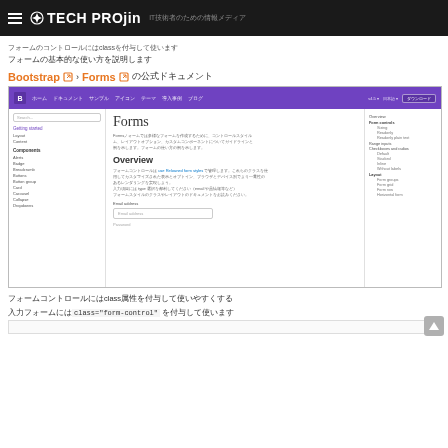TECH PROjin IT技術者のための情報メディア
フォームのコントロールにはclassを付与して使います
フォームの基本的な使い方を説明します
Bootstrap ↗ › Forms ↗ の公式ドキュメント
[Figure (screenshot): Bootstrap Forms documentation page screenshot showing the Forms page with sidebar navigation, main content with Forms title and Overview section]
フォームコントロールにはclass属性を付与して使いやすくする
入力フォームにはclass="form-control" を付与して使います